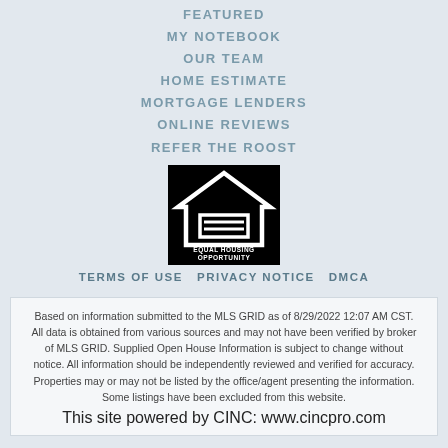FEATURED
MY NOTEBOOK
OUR TEAM
HOME ESTIMATE
MORTGAGE LENDERS
ONLINE REVIEWS
REFER THE ROOST
[Figure (logo): Equal Housing Opportunity logo — white house outline with an equals sign inside on a black background, with text EQUAL HOUSING OPPORTUNITY below]
TERMS OF USE  PRIVACY NOTICE  DMCA
Based on information submitted to the MLS GRID as of 8/29/2022 12:07 AM CST. All data is obtained from various sources and may not have been verified by broker of MLS GRID. Supplied Open House Information is subject to change without notice. All information should be independently reviewed and verified for accuracy. Properties may or may not be listed by the office/agent presenting the information. Some listings have been excluded from this website.
This site powered by CINC: www.cincpro.com